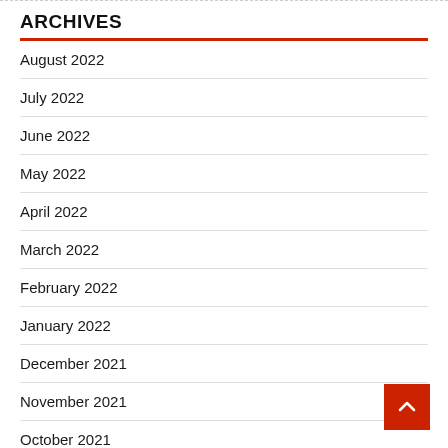ARCHIVES
August 2022
July 2022
June 2022
May 2022
April 2022
March 2022
February 2022
January 2022
December 2021
November 2021
October 2021
September 2021